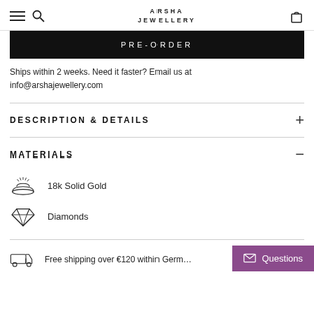ARSHA JEWELLERY
PRE-ORDER
Ships within 2 weeks. Need it faster? Email us at info@arshajewellery.com
DESCRIPTION & DETAILS
MATERIALS
18k Solid Gold
Diamonds
Free shipping over €120 within Germ…
Questions